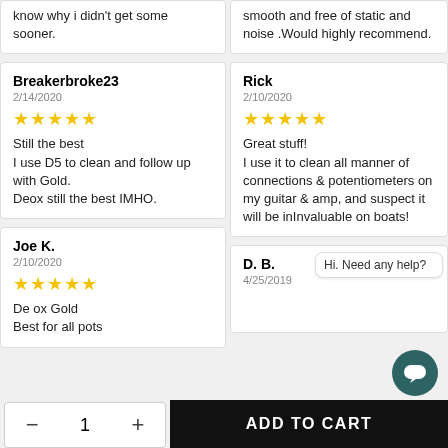know why i didn't get some sooner.
smooth and free of static and noise .Would highly recommend.
Breakerbroke23
2/14/2020
Still the best
I use D5 to clean and follow up with Gold.
Deox still the best IMHO.
Rick
2/10/2020
Great stuff!
I use it to clean all manner of connections & potentiometers on my guitar & amp, and suspect it will be inInvaluable on boats!
Joe K.
2/10/2020
De ox Gold
Best for all pots
D. B.
4/25/2019
Hi. Need any help?
- 1 + ADD TO CART